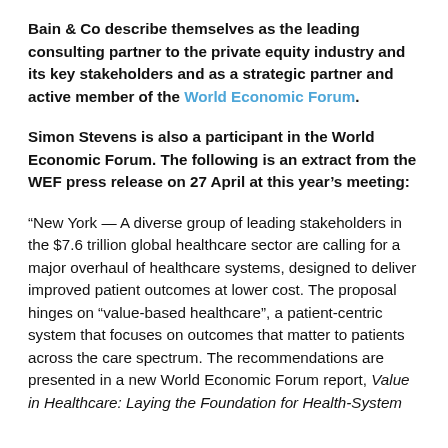Bain & Co describe themselves as the leading consulting partner to the private equity industry and its key stakeholders and as a strategic partner and active member of the World Economic Forum.
Simon Stevens is also a participant in the World Economic Forum. The following is an extract from the WEF press release on 27 April at this year's meeting:
“New York — A diverse group of leading stakeholders in the $7.6 trillion global healthcare sector are calling for a major overhaul of healthcare systems, designed to deliver improved patient outcomes at lower cost. The proposal hinges on “value-based healthcare”, a patient-centric system that focuses on outcomes that matter to patients across the care spectrum. The recommendations are presented in a new World Economic Forum report, Value in Healthcare: Laying the Foundation for Health-System